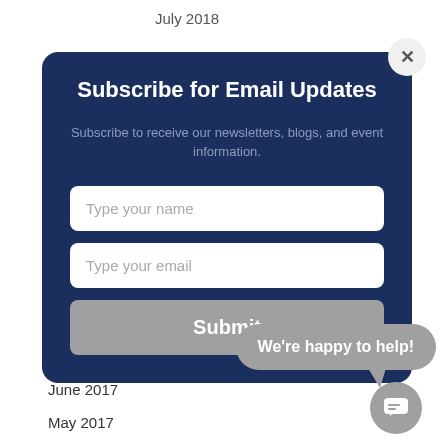July 2018
Subscribe for Email Updates
Subscribe to receive our newsletters, blogs, and event information.
Type your name
Type your email
Submit
August 2017
June 2017
May 2017
We're happy to help!